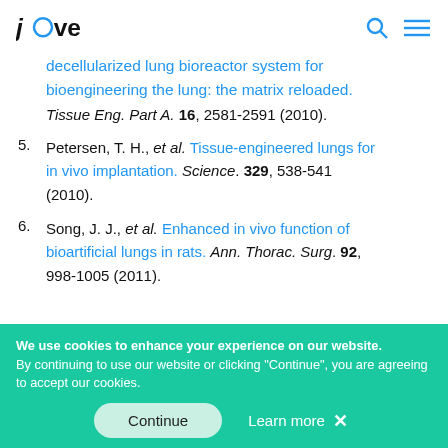jove
decellularized lung bioreactor system for bioengineering the lung: the matrix reloaded. Tissue Eng. Part A. 16, 2581-2591 (2010).
5. Petersen, T. H., et al. Tissue-engineered lungs for in vivo implantation. Science. 329, 538-541 (2010).
6. Song, J. J., et al. Enhanced in vivo function of bioartificial lungs in rats. Ann. Thorac. Surg. 92, 998-1005 (2011).
We use cookies to enhance your experience on our website. By continuing to use our website or clicking "Continue", you are agreeing to accept our cookies.